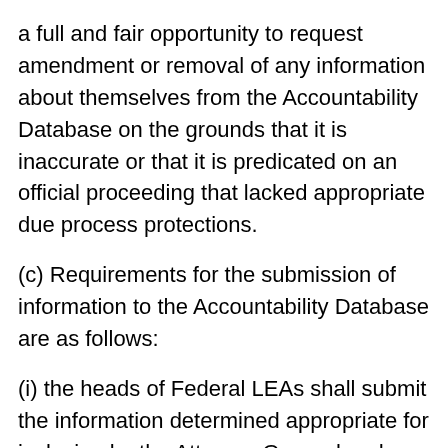a full and fair opportunity to request amendment or removal of any information about themselves from the Accountability Database on the grounds that it is inaccurate or that it is predicated on an official proceeding that lacked appropriate due process protections.
(c) Requirements for the submission of information to the Accountability Database are as follows:
(i) the heads of Federal LEAs shall submit the information determined appropriate for inclusion by the Attorney General under subsection (b) of this section on a quarterly basis, beginning no later than 60 days from the establishment of the Accountability